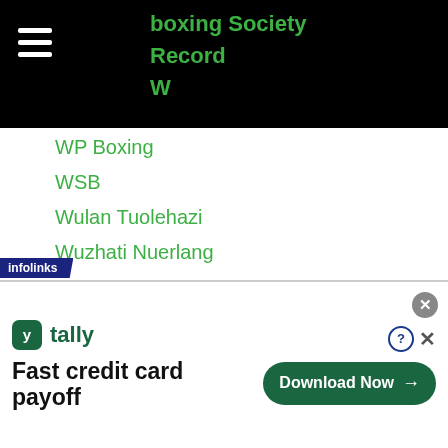boxing Society
Record
W
WP Boxing
WSB
Wulan Tuolehazi
Wuzhati Nuerlang
WYBC
Xiang Li
Xiang Xiang Sun
Xian Qian Wei
Xiaolu Mou
Xiao Tao Su
Xinghua Wang
Xing Xin Yang
Xiong Zhao Zhong
[Figure (screenshot): Infolinks ad banner: tally app - Fast credit card payoff with Download Now button]